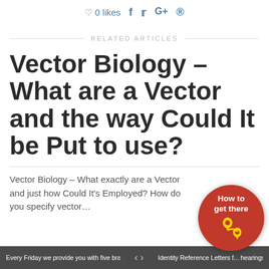0 likes
RELATED ARTICLES
Vector Biology – What are a Vector and the way Could It be Put to use?
Vector Biology – What exactly are a Vector and just how Could It's Employed? How do you specify vector…
[Figure (logo): Red circular badge with 'How to get there' text and yellow location pin icon]
Every Friday we provide you with five brand new te... < > Identity Reference Letters f... hearings